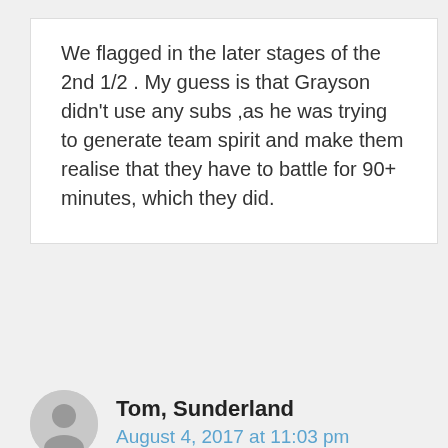We flagged in the later stages of the 2nd 1/2 . My guess is that Grayson didn't use any subs ,as he was trying to generate team spirit and make them realise that they have to battle for 90+ minutes, which they did.
Tom, Sunderland
August 4, 2017 at 11:03 pm
Next Post
Middlesbrough, Aston Villa, Fulham, Sheff Sunderland – the ones to watch
Don't agree feeling enc